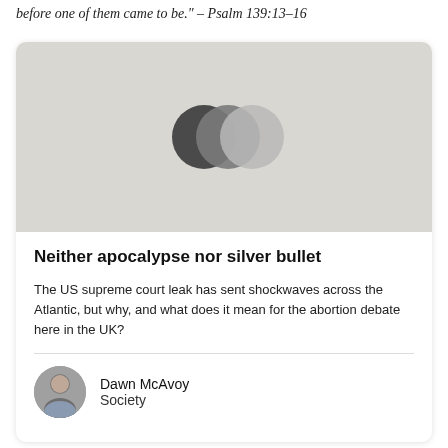before one of them came to be." – Psalm 139:13–16
[Figure (illustration): Image placeholder with gray background showing three overlapping circles in dark gray, medium gray, and light gray tones]
Neither apocalypse nor silver bullet
The US supreme court leak has sent shockwaves across the Atlantic, but why, and what does it mean for the abortion debate here in the UK?
Dawn McAvoy
Society